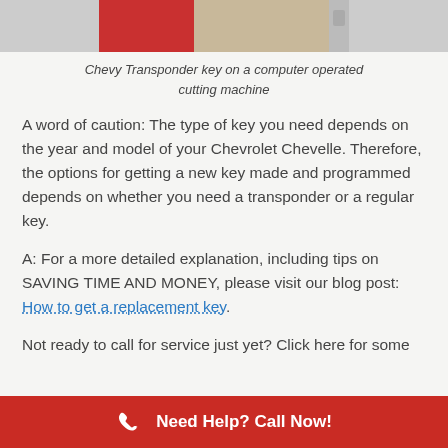[Figure (photo): Chevy Transponder key on a computer operated cutting machine — partial view cropped at top of page]
Chevy Transponder key on a computer operated cutting machine
A word of caution: The type of key you need depends on the year and model of your Chevrolet Chevelle. Therefore, the options for getting a new key made and programmed depends on whether you need a transponder or a regular key.
A: For a more detailed explanation, including tips on SAVING TIME AND MONEY, please visit our blog post: How to get a replacement key.
Not ready to call for service just yet? Click here for some
Need Help? Call Now!